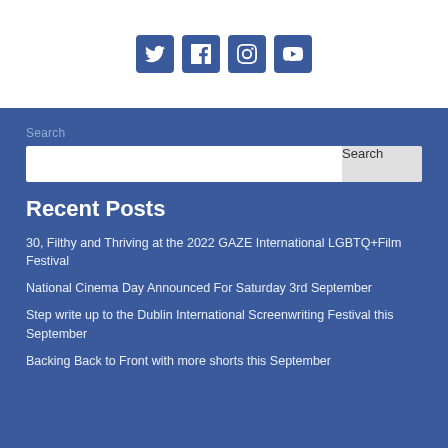[Figure (infographic): Social media icons row: Twitter, Facebook, Instagram, YouTube — each in a blue rounded square button]
Search
Search (input box and button)
Recent Posts
30, Filthy and Thriving at the 2022 GAZE International LGBTQ+Film Festival
National Cinema Day Announced For Saturday 3rd September
Step write up to the Dublin International Screenwriting Festival this September
Backing Back to Front with more shorts this September